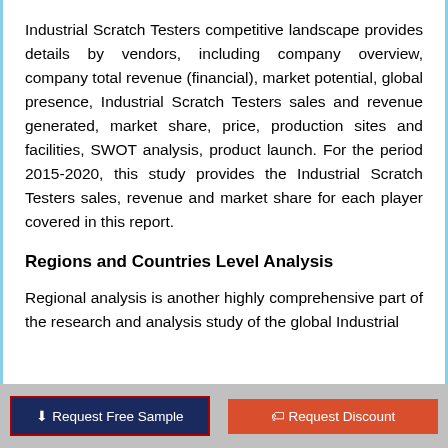Industrial Scratch Testers competitive landscape provides details by vendors, including company overview, company total revenue (financial), market potential, global presence, Industrial Scratch Testers sales and revenue generated, market share, price, production sites and facilities, SWOT analysis, product launch. For the period 2015-2020, this study provides the Industrial Scratch Testers sales, revenue and market share for each player covered in this report.
Regions and Countries Level Analysis
Regional analysis is another highly comprehensive part of the research and analysis study of the global Industrial
Request Free Sample   Request Discount